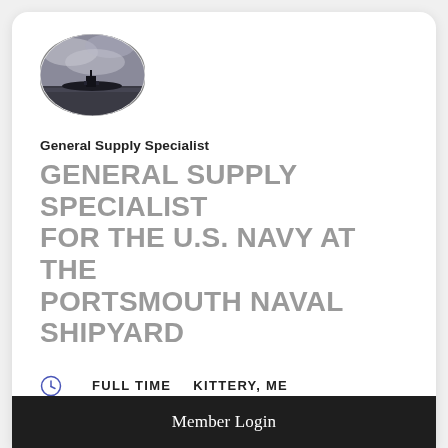[Figure (photo): Oval-shaped logo image showing a submarine on the ocean with a dramatic cloudy sky, in black and white/dark tones.]
General Supply Specialist
GENERAL SUPPLY SPECIALIST FOR THE U.S. NAVY AT THE PORTSMOUTH NAVAL SHIPYARD
FULL TIME    KITTERY, ME
$48,641 – $77,346 A YEAR
Member Login